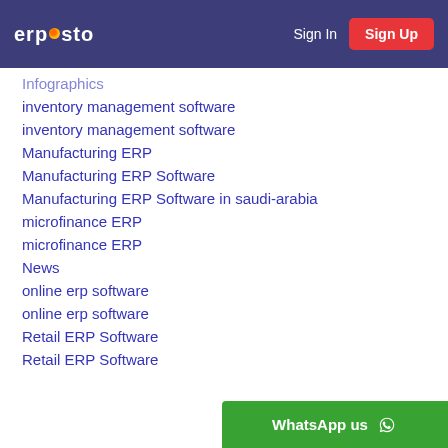erposto | Sign In | Sign Up
Infographics
inventory management software
inventory management software
Manufacturing ERP
Manufacturing ERP Software
Manufacturing ERP Software in saudi-arabia
microfinance ERP
microfinance ERP
News
online erp software
online erp software
Retail ERP Software
Retail ERP Software